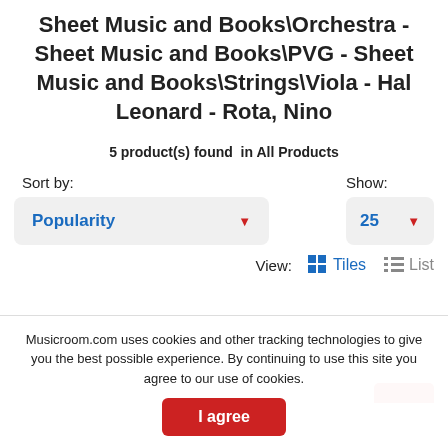Sheet Music and Books\Orchestra - Sheet Music and Books\PVG - Sheet Music and Books\Strings\Viola - Hal Leonard - Rota, Nino
5 product(s) found  in All Products
Sort by: Popularity
Show: 25
View: Tiles  List
Musicroom.com uses cookies and other tracking technologies to give you the best possible experience. By continuing to use this site you agree to our use of cookies.
I agree